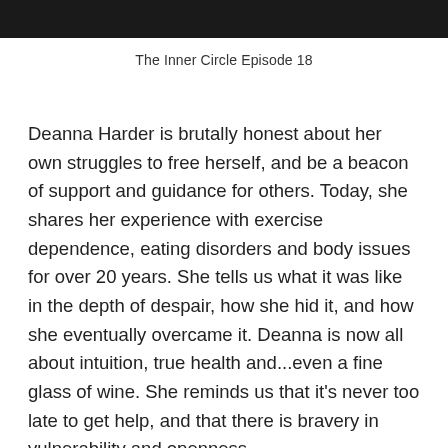[Figure (photo): Dark header image bar at the top of the page]
The Inner Circle Episode 18
Deanna Harder is brutally honest about her own struggles to free herself, and be a beacon of support and guidance for others. Today, she shares her experience with exercise dependence, eating disorders and body issues for over 20 years. She tells us what it was like in the depth of despair, how she hid it, and how she eventually overcame it. Deanna is now all about intuition, true health and...even a fine glass of wine. She reminds us that it's never too late to get help, and that there is bravery in vulnerability and openness.